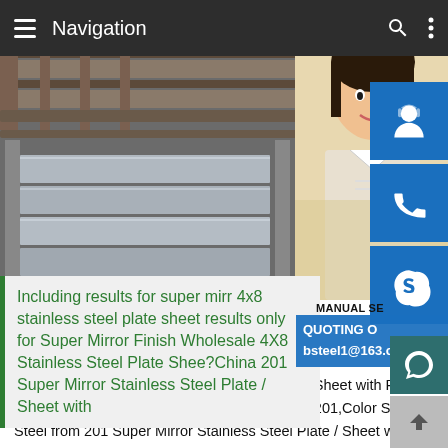Navigation
[Figure (photo): Stainless steel plates on industrial roller conveyor machinery]
[Figure (photo): Young Asian woman with headset smiling, customer service representative]
MANUAL SE
QUOTING O
bsteel1@163.com
Including results for super mirror 4x8 stainless steel plate sheet results only for Super Mirror Finish Wholesale 4X8 Stainless Steel Plate Shee?China 201 Super Mirror Stainless Steel Plate / Sheet with
China 201 Super Mirror Stainless Steel Plate / Sheet with PVC Protection,Find details about China Color Inox 201,Color Stainless Steel from 201 Super Mirror Stainless Steel Plate / Sheet with